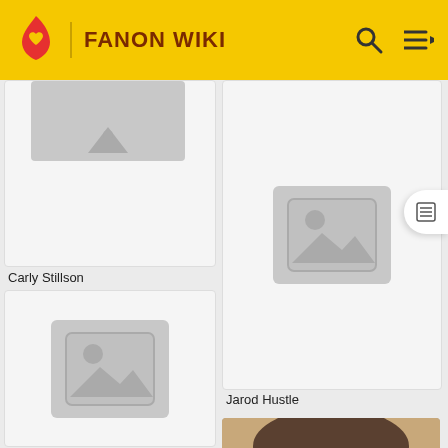FANON WIKI
[Figure (screenshot): Fanon Wiki website screenshot showing a grid of character cards. Left column shows 'Carly Stillson' (top card with partial image placeholder) and a second card with image placeholder. Right column shows 'Jarod Hustle' card with image placeholder and a third card with a photo of a young woman with brown hair.]
Carly Stillson
Jarod Hustle